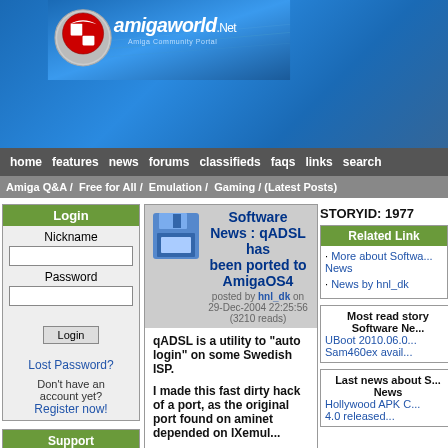[Figure (logo): AmigaWorld.Net website header with logo (red checkered ball on gear) and site title 'amigaworld.Net - Amiga Community Portal' on blue gradient background]
home  features  news  forums  classifieds  faqs  links  search
Amiga Q&A / Free for All / Emulation / Gaming / (Latest Posts)
Login
Nickname
Password
Login
Lost Password?
Don't have an account yet? Register now!
Support Amigaworld.net
Your support is needed and is appreciated as Amigaworld.net is primarily dependent upon the support of its users.
Software News : qADSL has been ported to AmigaOS4
posted by hnl_dk on 29-Dec-2004 22:25:56 (3210 reads)
qADSL is a utility to "auto login" on some Swedish ISP.

I made this fast dirty hack of a port, as the original port found on aminet depended on IXemul...

Find it on my website or on OS4 Depot

It has been tested by spotUP

The sourcecode is included if someone from sweden could try to make it more up-to-date or fix
STORYID: 1977
Related Links
· More about Software News
· News by hnl_dk
Most read story Software News UBoot 2010.06.0... Sam460ex avail...
Last news about Software News Hollywood APK C... 4.0 released...